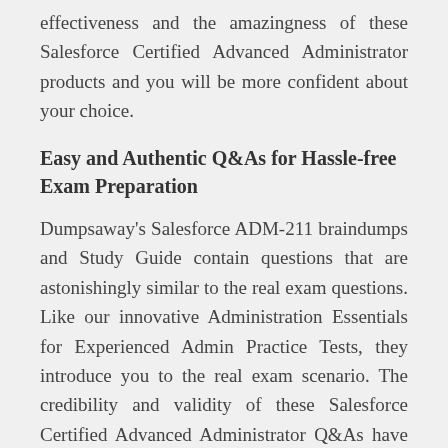effectiveness and the amazingness of these Salesforce Certified Advanced Administrator products and you will be more confident about your choice.
Easy and Authentic Q&As for Hassle-free Exam Preparation
Dumpsaway's Salesforce ADM-211 braindumps and Study Guide contain questions that are astonishingly similar to the real exam questions. Like our innovative Administration Essentials for Experienced Admin Practice Tests, they introduce you to the real exam scenario. The credibility and validity of these Salesforce Certified Advanced Administrator Q&As have been approved by the experts related to this field. Above all, these Q&As are easy to prepare and keep in memory to answer real Salesforce Certified Advanced Administrator